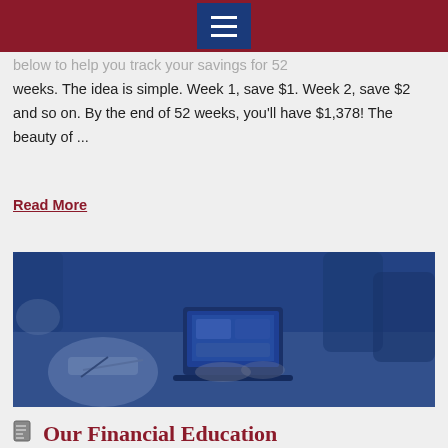below to help you track your savings for 52 weeks. The idea is simple. Week 1, save $1. Week 2, save $2 and so on. By the end of 52 weeks, you'll have $1,378! The beauty of ...
Read More
[Figure (photo): People gathered around a table with a laptop, reviewing documents — financial education workshop scene with blue color overlay]
Our Financial Education